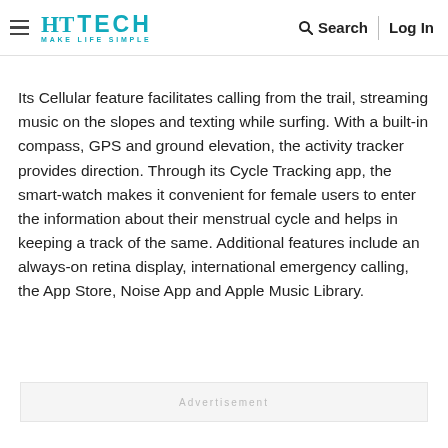HT TECH MAKE LIFE SIMPLE | Search | Log In
Its Cellular feature facilitates calling from the trail, streaming music on the slopes and texting while surfing. With a built-in compass, GPS and ground elevation, the activity tracker provides direction. Through its Cycle Tracking app, the smart-watch makes it convenient for female users to enter the information about their menstrual cycle and helps in keeping a track of the same. Additional features include an always-on retina display, international emergency calling, the App Store, Noise App and Apple Music Library.